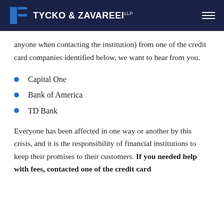Tycko & Zavareei LLP
anyone when contacting the institution) from one of the credit card companies identified below, we want to hear from you.
Capital One
Bank of America
TD Bank
Everyone has been affected in one way or another by this crisis, and it is the responsibility of financial institutions to keep their promises to their customers. If you needed help with fees, contacted one of the credit card